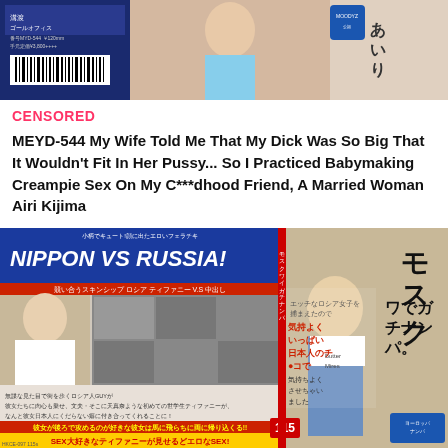[Figure (photo): DVD cover image showing Japanese adult video product MEYD-544 with barcode and Japanese text]
CENSORED
MEYD-544 My Wife Told Me That My Dick Was So Big That It Wouldn't Fit In Her Pussy... So I Practiced Babymaking Creampie Sex On My C***dhood Friend, A Married Woman Airi Kijima
[Figure (photo): DVD cover for Japanese adult video HKCE-037, featuring a young blonde woman (Tiffany) and Japanese text reading NIPPON VS RUSSIA with various scene thumbnails]